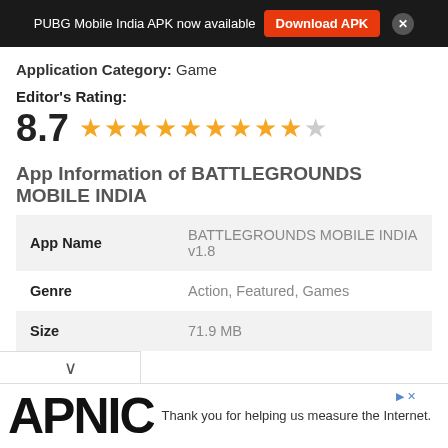PUBG Mobile India APK now available  Download APK  ×
Application Category: Game
Editor's Rating:
8.7  ★★★★★★★★★☆
App Information of BATTLEGROUNDS MOBILE INDIA
|  |  |
| --- | --- |
| App Name | BATTLEGROUNDS MOBILE INDIA v1.8 |
| Genre | Action, Featured, Games |
| Size | 71.9 MB |
[Figure (screenshot): APNIC advertisement banner at bottom with text 'Thank you for helping us measure the Internet.']